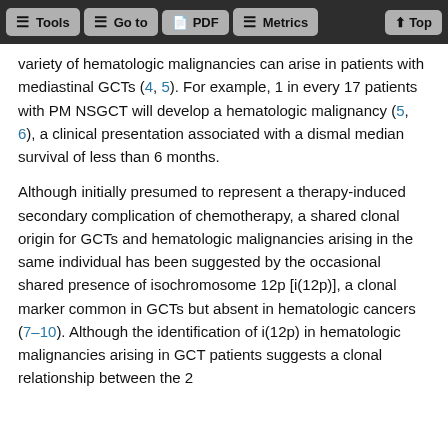Tools | Go to | PDF | Metrics | Top
variety of hematologic malignancies can arise in patients with mediastinal GCTs (4, 5). For example, 1 in every 17 patients with PM NSGCT will develop a hematologic malignancy (5, 6), a clinical presentation associated with a dismal median survival of less than 6 months.
Although initially presumed to represent a therapy-induced secondary complication of chemotherapy, a shared clonal origin for GCTs and hematologic malignancies arising in the same individual has been suggested by the occasional shared presence of isochromosome 12p [i(12p)], a clonal marker common in GCTs but absent in hematologic cancers (7–10). Although the identification of i(12p) in hematologic malignancies arising in GCT patients suggests a clonal relationship between the 2